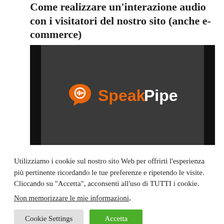Come realizzare un'interazione audio con i visitatori del nostro sito (anche e-commerce)
[Figure (screenshot): SpeakPipe logo on a dark grey video background with black bars on left and right sides]
Utilizziamo i cookie sul nostro sito Web per offrirti l'esperienza più pertinente ricordando le tue preferenze e ripetendo le visite. Cliccando su "Accetta", acconsenti all'uso di TUTTI i cookie.
Non memorizzare le mie informazioni.
Cookie Settings | Accetta